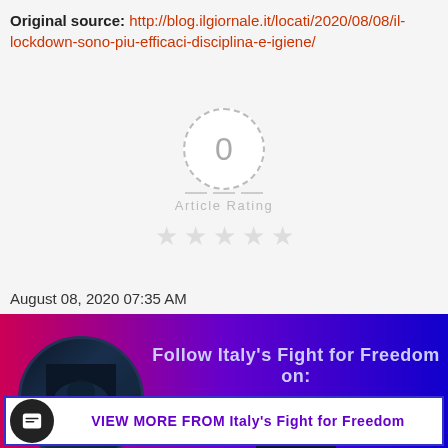Original source: http://blog.ilgiornale.it/locati/2020/08/08/il-lockdown-sono-piu-efficaci-disciplina-e-igiene/
[Figure (infographic): Article rating widget showing '0' in a dashed circle, horizontal dashes, 'Article Rating' label in gray, and five gray star icons below]
August 08, 2020 07:35 AM
[Figure (infographic): Banner with red-to-blue gradient background, circular image on the left with dark historical illustration, text 'Follow Italy's Fight for Freedom on:' in light purple, and a dark chevron/arrow-up box below the text]
VIEW MORE FROM Italy's Fight for Freedom